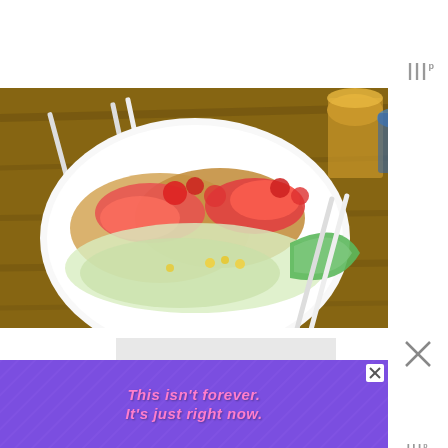[Figure (logo): App logo/wordmark with three vertical bars and superscript 'p' in gray, top right]
[Figure (photo): Restaurant food photo: tacos on a white plate with shrimp, salsa, shredded cabbage, corn, and a lime wedge, on a wooden table with drinks and chopstick wrappers]
[Figure (other): Heart/favorite button (teal circle with white heart icon) overlaid on bottom-right of food photo]
1
[Figure (other): Share button (white circle with share icon)]
[Figure (photo): Secondary photo (partially visible, light gray/white background)]
[Figure (other): Close/X button (white box with X) on ad banner]
[Figure (other): Advertisement banner: purple background with diagonal lines, orange/pink italic text 'This isn't forever. It's just right now.']
[Figure (other): Side panel with close X icon and app logo at bottom right]